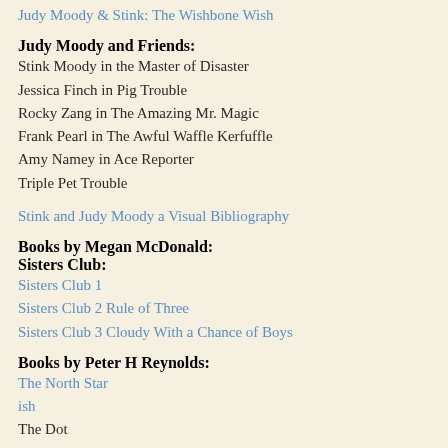Judy Moody & Stink: The Wishbone Wish
Judy Moody and Friends:
Stink Moody in the Master of Disaster
Jessica Finch in Pig Trouble
Rocky Zang in The Amazing Mr. Magic
Frank Pearl in The Awful Waffle Kerfuffle
Amy Namey in Ace Reporter
Triple Pet Trouble
Stink and Judy Moody a Visual Bibliography
Books by Megan McDonald:
Sisters Club:
Sisters Club 1
Sisters Club 2 Rule of Three
Sisters Club 3 Cloudy With a Chance of Boys
Books by Peter H Reynolds:
The North Star
ish
The Dot